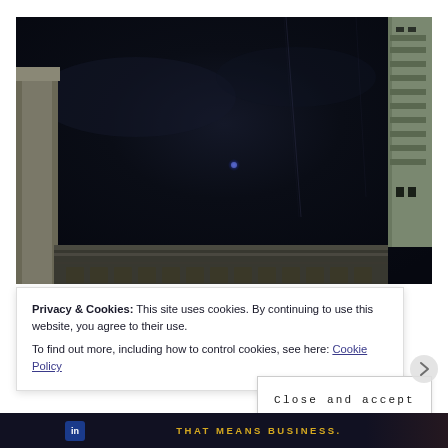[Figure (photo): Upward-angled photograph looking up at a dark night sky between buildings, with architectural cornice/frieze details visible at the bottom and classical stone pillars/columns on the sides. A faint blue lens flare is visible in the center.]
Privacy & Cookies: This site uses cookies. By continuing to use this website, you agree to their use.
To find out more, including how to control cookies, see here: Cookie Policy
Close and accept